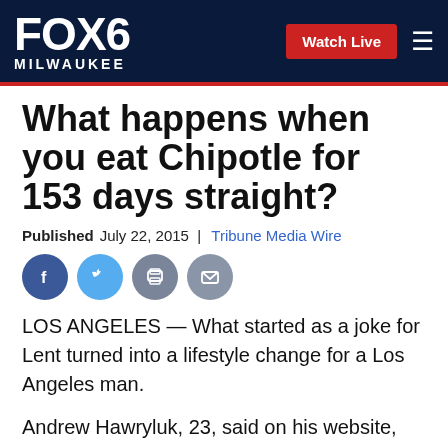FOX6 MILWAUKEE | Watch Live
What happens when you eat Chipotle for 153 days straight?
Published July 22, 2015 | Tribune Media Wire
[Figure (infographic): Social share icons: Facebook, Twitter, Print, Email]
LOS ANGELES — What started as a joke for Lent turned into a lifestyle change for a Los Angeles man.
Andrew Hawryluk, 23, said on his website, Chipotlife, he